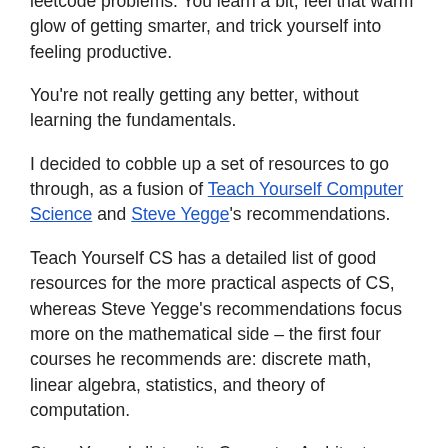stuck on fad diets for CS. It's so nice to read easy books, like learn C++ in 21 days, or doing some leetcode problems. You learn a bit, feel that warm glow of getting smarter, and trick yourself into feeling productive.
You're not really getting any better, without learning the fundamentals.
I decided to cobble up a set of resources to go through, as a fusion of Teach Yourself Computer Science and Steve Yegge's recommendations.
Teach Yourself CS has a detailed list of good resources for the more practical aspects of CS, whereas Steve Yegge's recommendations focus more on the mathematical side – the first four courses he recommends are: discrete math, linear algebra, statistics, and theory of computation.
Steve Yegge's list omits Computer Architecture, which is a glaring omission – an Operating Systems course doesn't have enough time to cover all the interesting parts of concurrency, parallelism, and optimization that a computer architecture course would.